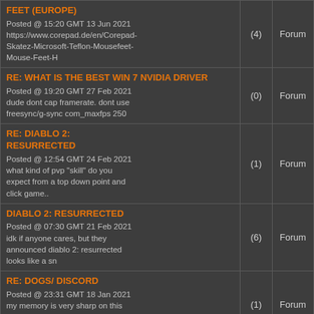| Post | Replies | Type |
| --- | --- | --- |
| FEET (EUROPE)
Posted @ 15:20 GMT 13 Jun 2021
https://www.corepad.de/en/Corepad-Skatez-Microsoft-Teflon-Mousefeet-Mouse-Feet-H | (4) | Forum |
| RE: WHAT IS THE BEST WIN 7 NVIDIA DRIVER
Posted @ 19:20 GMT 27 Feb 2021
dude dont cap framerate. dont use freesync/g-sync com_maxfps 250 | (0) | Forum |
| RE: DIABLO 2: RESURRECTED
Posted @ 12:54 GMT 24 Feb 2021
what kind of pvp "skill" do you expect from a top down point and click game.. | (1) | Forum |
| DIABLO 2: RESURRECTED
Posted @ 07:30 GMT 21 Feb 2021
idk if anyone cares, but they announced diablo 2: resurrected looks like a sn | (6) | Forum |
| RE: DOGS/ DISCORD
Posted @ 23:31 GMT 18 Jan 2021
my memory is very sharp on this matter as this was the only game i played when i | (1) | Forum |
| RE: DOGS/ DISCORD
Posted @ 22:46 GMT 18 Jan 2021
probabaly that naa guy, god forbid u join the server without a country-flag he w | (11) | Forum |
| RE: TWO NEW GAMES FROM GD STUDIO
Posted @ 18:30 GMT 12 Jan 2021
only old people are on fb the young generation dont fuck with fb like dat in | (4) | Forum |